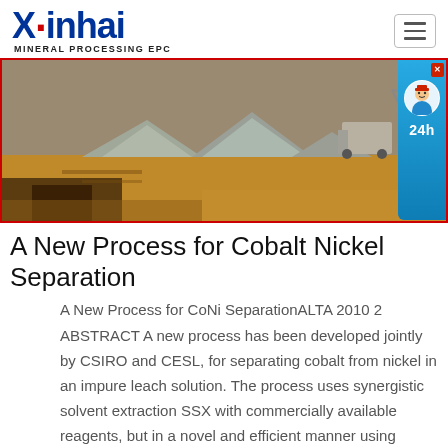Xinhai MINERAL PROCESSING EPC
[Figure (photo): Outdoor mineral processing site with piles of crushed rock/gravel and heavy equipment in the background, reddish-brown earth ground]
A New Process for Cobalt Nickel Separation
A New Process for CoNi SeparationALTA 2010 2 ABSTRACT A new process has been developed jointly by CSIRO and CESL, for separating cobalt from nickel in an impure leach solution. The process uses synergistic solvent extraction SSX with commercially available reagents, but in a novel and efficient manner using kinetic factors.